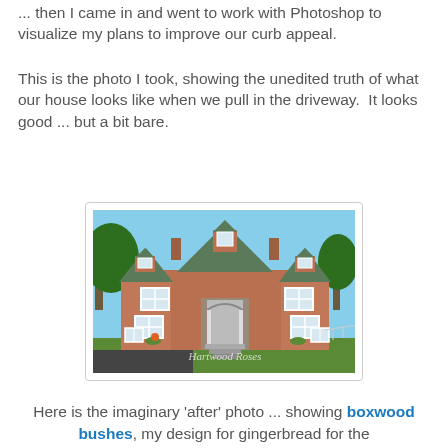... then I came in and went to work with Photoshop to visualize my plans to improve our curb appeal.
This is the photo I took, showing the unedited truth of what our house looks like when we pull in the driveway.  It looks good ... but a bit bare.
[Figure (photo): Photo of a two-story brick house with green metal roof, white trim windows, front porch with columns and steps, trees in background, watermark reading 'Hartwood Roses']
Here is the imaginary 'after' photo ... showing boxwood bushes, my design for gingerbread for the